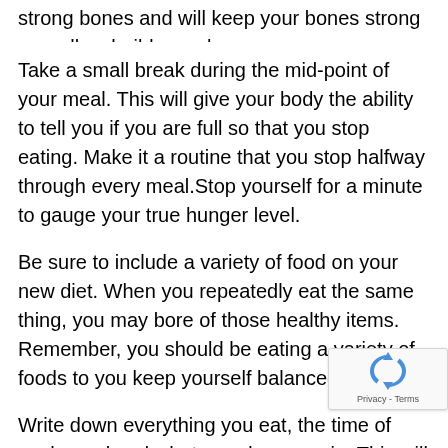strong bones and will keep your bones strong as well as build muscle mass.
Take a small break during the mid-point of your meal. This will give your body the ability to tell you if you are full so that you stop eating. Make it a routine that you stop halfway through every meal.Stop yourself for a minute to gauge your true hunger level.
Be sure to include a variety of food on your new diet. When you repeatedly eat the same thing, you may bore of those healthy items. Remember, you should be eating a variety of foods to you keep yourself balanced.
Write down everything you eat, the time of each meal and what mood you are in. This will make you know how to adjust to reach your goals easier.
These beverages are packed full of carbohydrates and and can make you crave food even more. Try drinking bottled water when you are thirsty; it is the best thing fo thirsty...to a healthy metabolism.